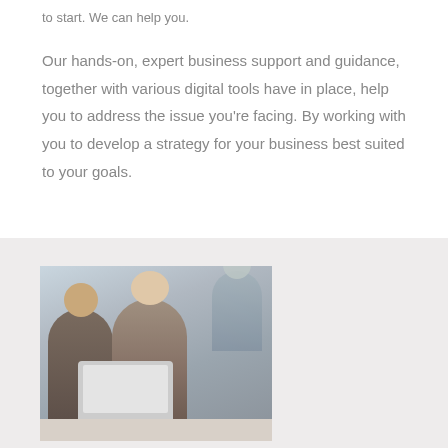to start. We can help you.
Our hands-on, expert business support and guidance, together with various digital tools have in place, help you to address the issue you're facing. By working with you to develop a strategy for your business best suited to your goals.
[Figure (photo): Office scene with two people — a bearded man in a grey blazer and a blonde woman with glasses — looking at a laptop together at a table, with other people visible in the background.]